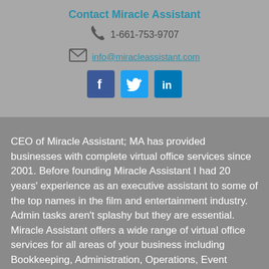Contact Miracle Assistant
1-661-753-9707
info@miracleassistant.com
[Figure (infographic): Social media icons: Facebook, Twitter, LinkedIn]
CEO of Miracle Assistant; MA has provided businesses with complete virtual office services since 2001. Before founding Miracle Assistant I had 20 years’ experience as an executive assistant to some of the top names in the film and entertainment industry. Admin tasks aren’t splashy but they are essential. Miracle Assistant offers a wide range of virtual office services for all areas of your business including Bookkeeping, Administration, Operations, Event Planning and Human